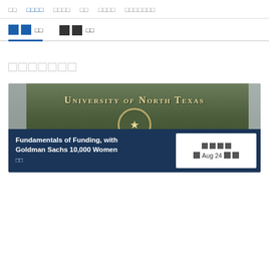□□  □□□□  □□□□  □□  □□□□  □□□□□□□
□□   □□
□□□□□□□
[Figure (photo): University of North Texas sign with seal and flowers in foreground]
Fundamentals of Funding, with Goldman Sachs 10,000 Women
□□
□□□□  □ Aug 24 □□